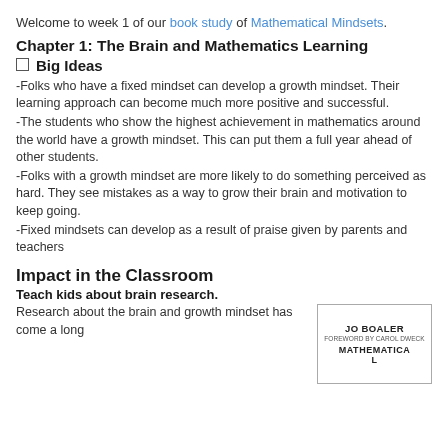Welcome to week 1 of our book study of Mathematical Mindsets.
Chapter 1: The Brain and Mathematics Learning
Big Ideas
-Folks who have a fixed mindset can develop a growth mindset.  Their learning approach can become much more positive and successful.
-The students who show the highest achievement in mathematics around the world have a growth mindset.  This can put them a full year ahead of other students.
-Folks with a growth mindset are more likely to do something perceived as hard. They see mistakes as a way to grow their brain and motivation to keep going.
-Fixed mindsets can develop as a result of praise given by parents and teachers
Impact in the Classroom
Teach kids about brain research.
Research about the brain and growth mindset has come a long
[Figure (illustration): Book cover of Mathematical Mindsets by Jo Boaler, foreword by Carol Dweck]